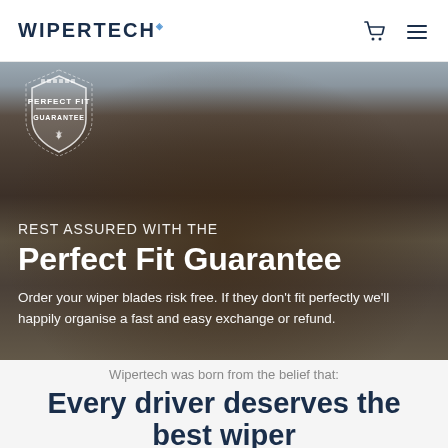WIPERTECH
[Figure (illustration): Perfect Fit Guarantee shield/badge logo with decorative border and text]
[Figure (photo): Aerial landscape photo of open moorland/plains with a dirt road and a vehicle, dark overcast sky]
REST ASSURED WITH THE
Perfect Fit Guarantee
Order your wiper blades risk free. If they don't fit perfectly we'll happily organise a fast and easy exchange or refund.
Wipertech was born from the belief that:
Every driver deserves the best wiper